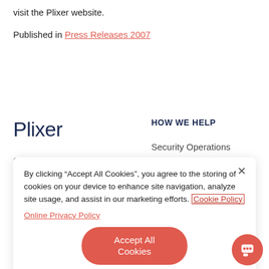visit the Plixer website.
Published in Press Releases 2007
Plixer
HOW WE HELP
68 Main St Ste 4
Kennebunk, ME 04043
Security Operations
By clicking “Accept All Cookies”, you agree to the storing of cookies on your device to enhance site navigation, analyze site usage, and assist in our marketing efforts. Cookie Policy
Online Privacy Policy
Accept All Cookies